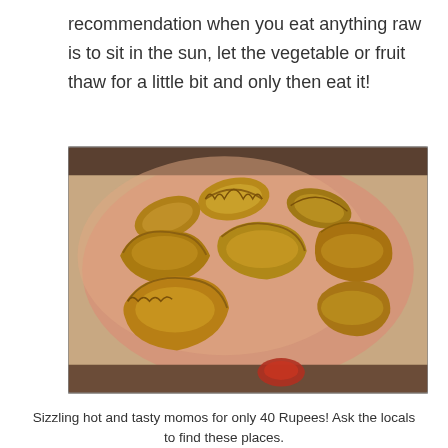recommendation when you eat anything raw is to sit in the sun, let the vegetable or fruit thaw for a little bit and only then eat it!
[Figure (photo): A plate of fried momos (dumplings) arranged on a round plate, golden-brown in color, with a small portion of red chutney visible at the bottom.]
Sizzling hot and tasty momos for only 40 Rupees! Ask the locals to find these places.